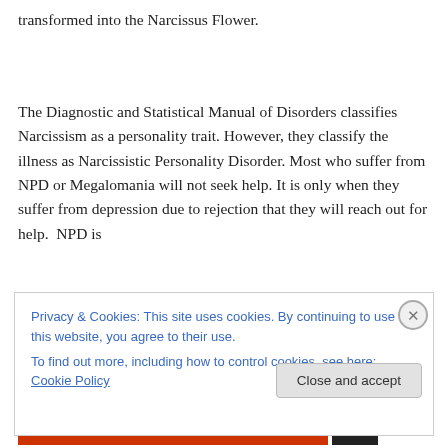transformed into the Narcissus Flower.
The Diagnostic and Statistical Manual of Disorders classifies Narcissism as a personality trait. However, they classify the illness as Narcissistic Personality Disorder. Most who suffer from NPD or Megalomania will not seek help. It is only when they suffer from depression due to rejection that they will reach out for help.  NPD is
Privacy & Cookies: This site uses cookies. By continuing to use this website, you agree to their use.
To find out more, including how to control cookies, see here: Cookie Policy
Close and accept